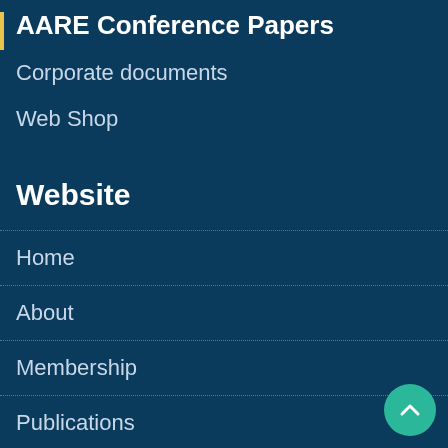AARE Conference Papers
Corporate documents
Web Shop
Website
Home
About
Membership
Publications
Research & Advocacy